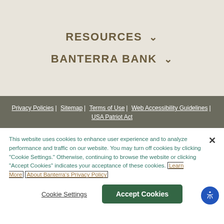RESOURCES ∨
BANTERRA BANK ∨
Privacy Policies | Sitemap | Terms of Use | Web Accessibility Guidelines | USA Patriot Act
This website uses cookies to enhance user experience and to analyze performance and traffic on our website. You may turn off cookies by clicking "Cookie Settings." Otherwise, continuing to browse the website or clicking "Accept Cookies" indicates your acceptance of these cookies. Learn More About Banterra's Privacy Policy
Cookie Settings
Accept Cookies